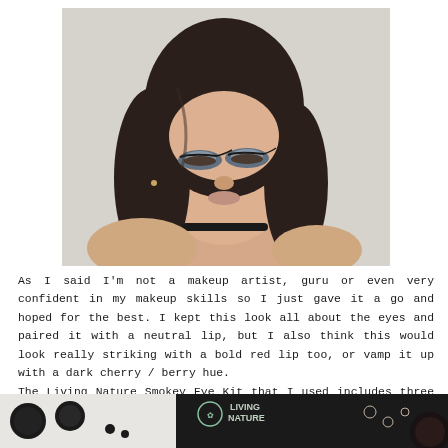[Figure (photo): Close-up portrait of a young woman with dark hair and bold smokey eye makeup in grey/silver tones, wearing a black choker necklace, looking down against a light grey background.]
As I said I'm not a makeup artist, guru or even very confident in my makeup skills so I just gave it a go and hoped for the best. I kept this look all about the eyes and paired it with a neutral lip, but I also think this would look really striking with a bold red lip too, or vamp it up with a dark cherry / berry hue.
The Living Nature Smokey Eye Kit that I used includes three eyeshadow shades in Slate (matte black), Glacier (shimmery grey silver) and Sand (matte warm toned nude) along with their Jet Black Thickening Mascara and Midnight Eye Pencil.
[Figure (photo): Partial view of makeup products including eyeshadow palette circles and Living Nature branded packaging, partially cut off at the bottom of the page.]